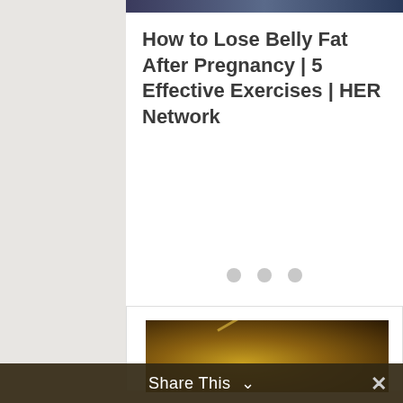[Figure (screenshot): Top portion of a video thumbnail showing a dark blue/navy background with partial image content]
How to Lose Belly Fat After Pregnancy | 5 Effective Exercises | HER Network
[Figure (other): Three gray loading/pagination dots centered on white background]
[Figure (photo): Golden/amber colored textured image, likely a video thumbnail preview with a diagonal light streak]
Share This ∨